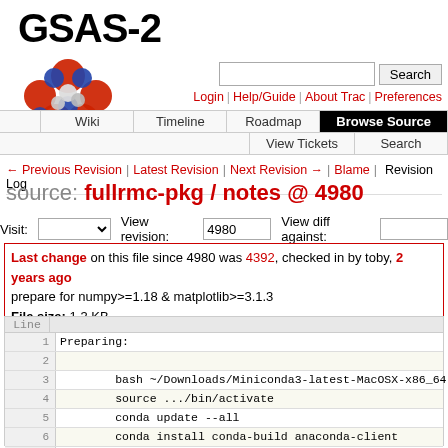[Figure (logo): GSAS-2 logo with molecule graphic (red, blue, white spheres)]
Login | Help/Guide | About Trac | Preferences
Wiki | Timeline | Roadmap | Browse Source | View Tickets | Search
← Previous Revision | Latest Revision | Next Revision → | Blame | Revision Log
source: fullrmc-pkg / notes @ 4980
Visit: [dropdown] View revision: 4980 View diff against: [input]
Last change on this file since 4980 was 4392, checked in by toby, 2 years ago
prepare for numpy>=1.18 & matplotlib>=3.1.3
File size: 1.3 KB
| Line |  |
| --- | --- |
| 1 | Preparing: |
| 2 |  |
| 3 |         bash ~/Downloads/Miniconda3-latest-MacOSX-x86_64.sh |
| 4 |         source .../bin/activate |
| 5 |         conda update --all |
| 6 |         conda install conda-build anaconda-client |
| 7 |  |